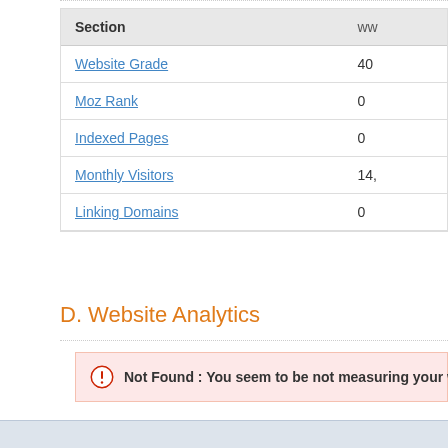| Section | ww... |
| --- | --- |
| Website Grade | 40 |
| Moz Rank | 0 |
| Indexed Pages | 0 |
| Monthly Visitors | 14, |
| Linking Domains | 0 |
D. Website Analytics
Not Found : You seem to be not measuring your website pe...